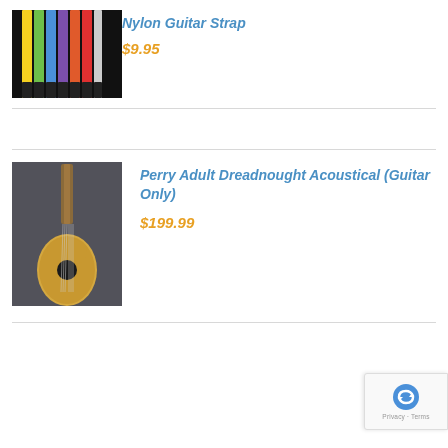[Figure (photo): Colorful nylon guitar straps arranged in a row on dark background — yellow, green, blue, purple, orange, red, white straps]
Nylon Guitar Strap
$9.95
[Figure (photo): Acoustic dreadnought guitar leaning against a wall, natural wood finish, photographed from the front]
Perry Adult Dreadnought Acoustical (Guitar Only)
$199.99